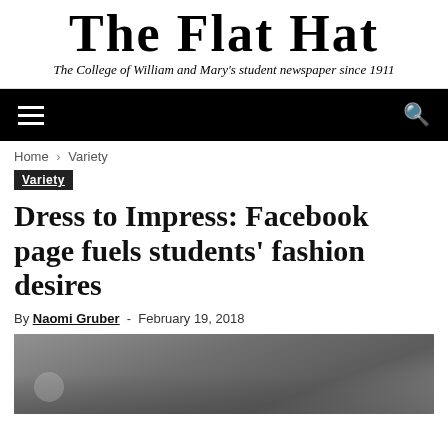THE FLAT HAT
The College of William and Mary's student newspaper since 1911
[Figure (screenshot): Black navigation bar with hamburger menu icon on left and search icon on right]
Home › Variety
Variety
Dress to Impress: Facebook page fuels students' fashion desires
By Naomi Gruber - February 19, 2018
[Figure (photo): Partial photograph with grey/neutral toned background, bottom portion visible]